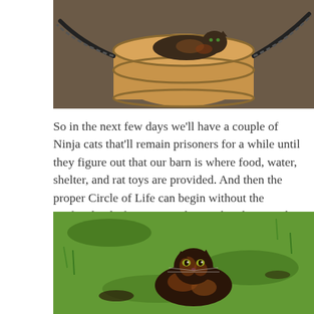[Figure (photo): A dark tortoiseshell cat lying on top of a wooden barrel with rope visible on both sides, barn background]
So in the next few days we'll have a couple of Ninja cats that'll remain prisoners for a while until they figure out that our barn is where food, water, shelter, and rat toys are provided. And then the proper Circle of Life can begin without the artificial aid of poisons and traps that don't work at all if you have smart rats.
[Figure (photo): A dark tortoiseshell cat sitting in green grass, looking toward the camera]